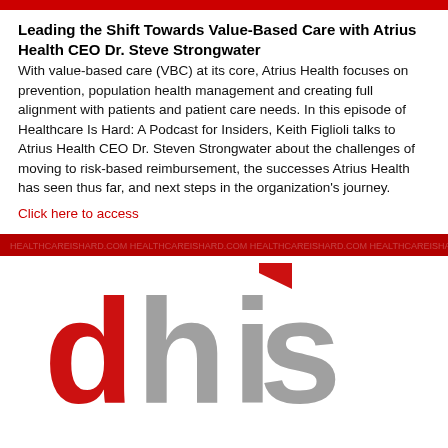Leading the Shift Towards Value-Based Care with Atrius Health CEO Dr. Steve Strongwater
With value-based care (VBC) at its core, Atrius Health focuses on prevention, population health management and creating full alignment with patients and patient care needs. In this episode of Healthcare Is Hard: A Podcast for Insiders, Keith Figlioli talks to Atrius Health CEO Dr. Steven Strongwater about the challenges of moving to risk-based reimbursement, the successes Atrius Health has seen thus far, and next steps in the organization's journey.
Click here to access
[Figure (logo): DHIS logo in red and gray letters]
[Figure (logo): Red banner with faint text overlay]